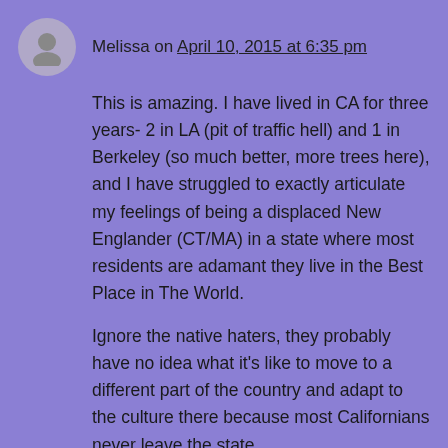Melissa on April 10, 2015 at 6:35 pm
This is amazing. I have lived in CA for three years- 2 in LA (pit of traffic hell) and 1 in Berkeley (so much better, more trees here), and I have struggled to exactly articulate my feelings of being a displaced New Englander (CT/MA) in a state where most residents are adamant they live in the Best Place in The World.
Ignore the native haters, they probably have no idea what it's like to move to a different part of the country and adapt to the culture there because most Californians never leave the state…